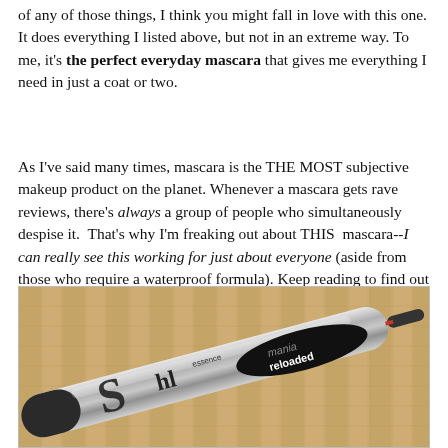of any of those things, I think you might fall in love with this one. It does everything I listed above, but not in an extreme way. To me, it's the perfect everyday mascara that gives me everything I need in just a coat or two.
As I've said many times, mascara is the THE MOST subjective makeup product on the planet. Whenever a mascara gets rave reviews, there's always a group of people who simultaneously despise it. That's why I'm freaking out about THIS mascara--I can really see this working for just about everyone (aside from those who require a waterproof formula). Keep reading to find out why!
[Figure (photo): Photo of an Essence Shl Mania Reloaded mascara tube lying diagonally on a bamboo mat background]